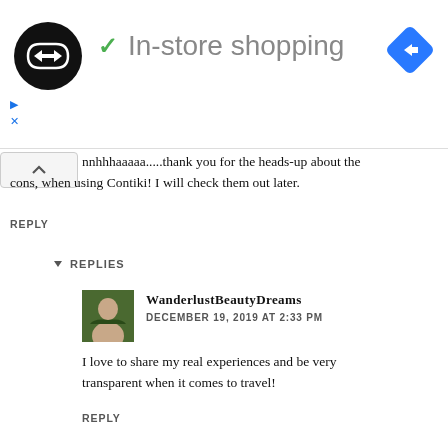[Figure (screenshot): Advertisement banner showing a circular black logo with double arrow symbol, a green checkmark with 'In-store shopping' text, and a blue diamond navigation icon on the right]
nnhhhaaaaa.....thank you for the heads-up about the cons, when using Contiki! I will check them out later.
REPLY
REPLIES
WanderlustBeautyDreams
DECEMBER 19, 2019 AT 2:33 PM
I love to share my real experiences and be very transparent when it comes to travel!
REPLY